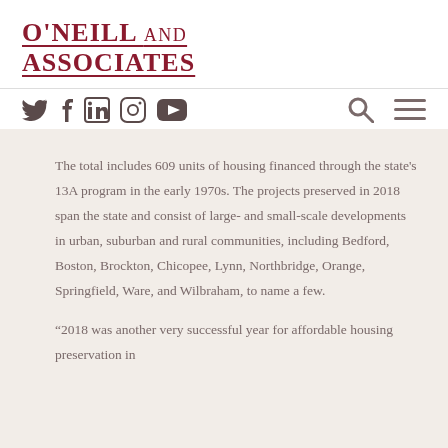[Figure (logo): O'Neill and Associates company logo in dark red/crimson with underline, uppercase serif font]
[Figure (infographic): Navigation bar with social media icons (Twitter, Facebook, LinkedIn, Instagram, YouTube) in dark brown, and search and hamburger menu icons on the right]
The total includes 609 units of housing financed through the state's 13A program in the early 1970s. The projects preserved in 2018 span the state and consist of large- and small-scale developments in urban, suburban and rural communities, including Bedford, Boston, Brockton, Chicopee, Lynn, Northbridge, Orange, Springfield, Ware, and Wilbraham, to name a few.
“2018 was another very successful year for affordable housing preservation in